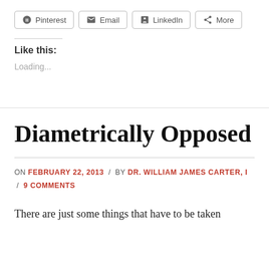[Figure (other): Social share buttons: Pinterest, Email, LinkedIn, More]
Like this:
Loading...
Diametrically Opposed
ON FEBRUARY 22, 2013 / BY DR. WILLIAM JAMES CARTER, I / 9 COMMENTS
There are just some things that have to be taken